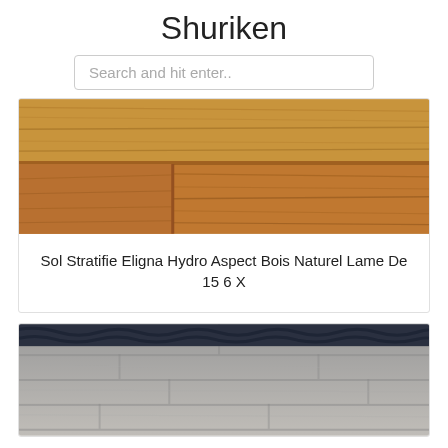Shuriken
Search and hit enter..
[Figure (photo): Close-up photo of natural wood laminate flooring planks in warm honey/oak color, showing wood grain texture]
Sol Stratifie Eligna Hydro Aspect Bois Naturel Lame De 15 6 X
[Figure (photo): Photo of grey wood-look vinyl/laminate flooring with a dark navy rope-edged rug partially visible at the top]